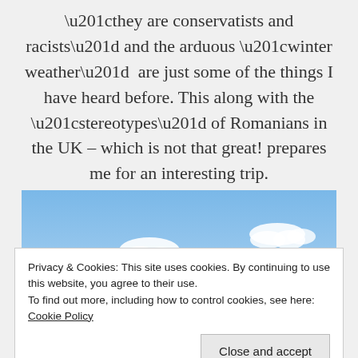“they are conservatists and racists” and the arduous “winter weather”  are just some of the things I have heard before. This along with the “stereotypes” of Romanians in the UK – which is not that great! prepares me for an interesting trip.
[Figure (photo): Photograph showing a blue sky with scattered white clouds and a hint of green landscape at the bottom.]
Privacy & Cookies: This site uses cookies. By continuing to use this website, you agree to their use.
To find out more, including how to control cookies, see here: Cookie Policy